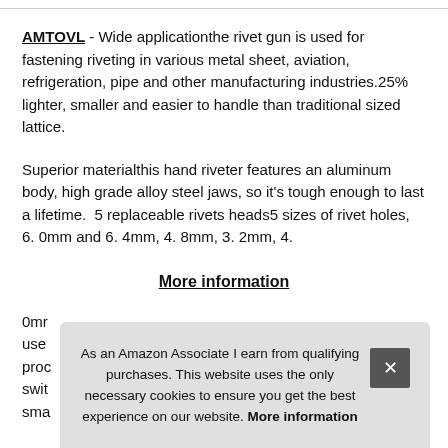AMTOVL - Wide applicationthe rivet gun is used for fastening riveting in various metal sheet, aviation, refrigeration, pipe and other manufacturing industries.25% lighter, smaller and easier to handle than traditional sized lattice.
Superior materialthis hand riveter features an aluminum body, high grade alloy steel jaws, so it's tough enough to last a lifetime. 5 replaceable rivets heads5 sizes of rivet holes, 6. 0mm and 6. 4mm, 4. 8mm, 3. 2mm, 4.
More information
0mr use proc swit sma
As an Amazon Associate I earn from qualifying purchases. This website uses the only necessary cookies to ensure you get the best experience on our website. More information